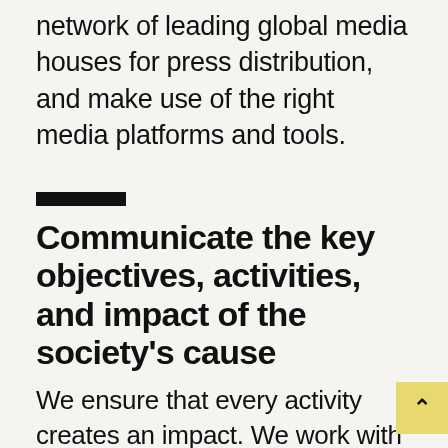network of leading global media houses for press distribution, and make use of the right media platforms and tools.
Communicate the key objectives, activities, and impact of the society's cause
We ensure that every activity creates an impact. We work with you to identify key stakeholders for